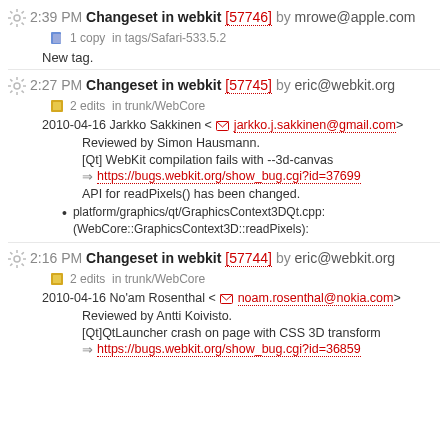2:39 PM Changeset in webkit [57746] by mrowe@apple.com — 1 copy in tags/Safari-533.5.2 — New tag.
2:27 PM Changeset in webkit [57745] by eric@webkit.org — 2 edits in trunk/WebCore — 2010-04-16 Jarkko Sakkinen <jarkko.j.sakkinen@gmail.com> — Reviewed by Simon Hausmann. — [Qt] WebKit compilation fails with --3d-canvas https://bugs.webkit.org/show_bug.cgi?id=37699 — API for readPixels() has been changed. — platform/graphics/qt/GraphicsContext3DQt.cpp: (WebCore::GraphicsContext3D::readPixels):
2:16 PM Changeset in webkit [57744] by eric@webkit.org — 2 edits in trunk/WebCore — 2010-04-16 No'am Rosenthal <noam.rosenthal@nokia.com> — Reviewed by Antti Koivisto. — [Qt]QtLauncher crash on page with CSS 3D transform https://bugs.webkit.org/show_bug.cgi?id=36859